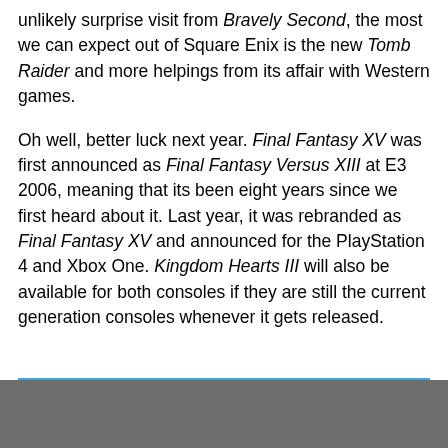unlikely surprise visit from Bravely Second, the most we can expect out of Square Enix is the new Tomb Raider and more helpings from its affair with Western games.
Oh well, better luck next year. Final Fantasy XV was first announced as Final Fantasy Versus XIII at E3 2006, meaning that its been eight years since we first heard about it. Last year, it was rebranded as Final Fantasy XV and announced for the PlayStation 4 and Xbox One. Kingdom Hearts III will also be available for both consoles if they are still the current generation consoles whenever it gets released.